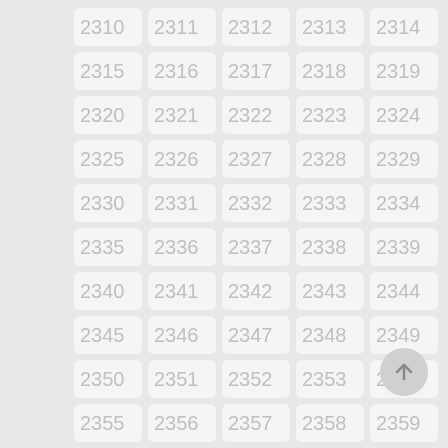[Figure (screenshot): A grid of numbered cells from 2310 to 2364 in a 5-column layout, displayed as light gray rounded rectangle tiles on a gray background. A floating action button with an up arrow is visible in the bottom right.]